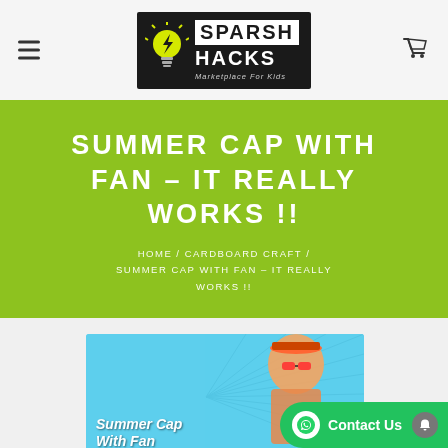[Figure (logo): Sparsh Hacks logo — lightbulb with lightning bolt, text SPARSH HACKS Marketplace For Kids on black background]
SUMMER CAP WITH FAN – IT REALLY WORKS !!
HOME / CARDBOARD CRAFT / SUMMER CAP WITH FAN – IT REALLY WORKS !!
[Figure (photo): Product thumbnail showing Summer Cap With Fan on a colorful background with a person wearing the cap]